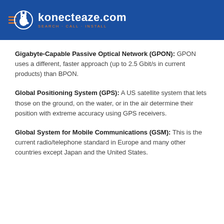konecteaze.com — SEARCH · CALL · INSTALL
Gigabyte-Capable Passive Optical Network (GPON): GPON uses a different, faster approach (up to 2.5 Gbit/s in current products) than BPON.
Global Positioning System (GPS): A US satellite system that lets those on the ground, on the water, or in the air determine their position with extreme accuracy using GPS receivers.
Global System for Mobile Communications (GSM): This is the current radio/telephone standard in Europe and many other countries except Japan and the United States.